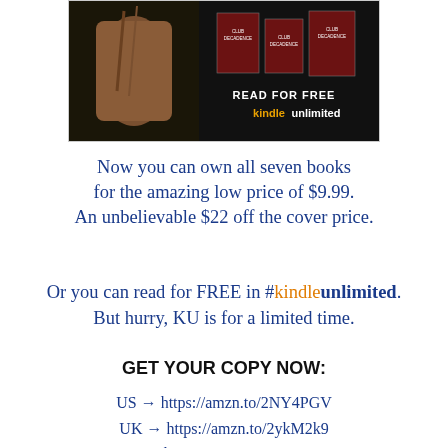[Figure (illustration): Book promotional image showing a shirtless man holding ropes on a dark background, with three book covers for 'Club Decadence' series displayed, and text 'READ FOR FREE kindleunlimited']
Now you can own all seven books for the amazing low price of $9.99. An unbelievable $22 off the cover price.
Or you can read for FREE in #kindleunlimited. But hurry, KU is for a limited time.
GET YOUR COPY NOW:
US → https://amzn.to/2NY4PGV
UK → https://amzn.to/2ykM2k9
CA → https://amzn.to/2pQpYcK
AU → https://amzn.to/2NCNK4k